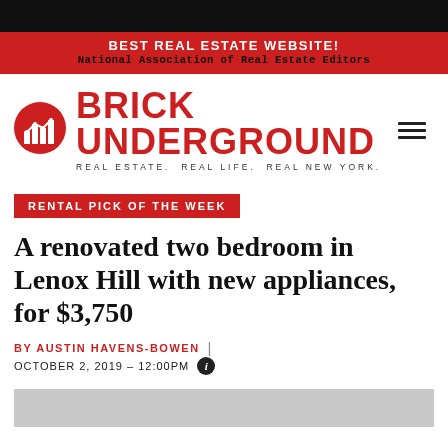BEST REAL ESTATE WEBSITE!
National Association of Real Estate Editors
[Figure (logo): Brick Underground logo with red cityscape icon and red text BRICK UNDERGROUND, tagline REAL ESTATE. REAL LIFE. REAL NEW YORK., and hamburger menu icon]
RENTAL PICK OF THE WEEK
A renovated two bedroom in Lenox Hill with new appliances, for $3,750
BY AUSTIN HAVENS-BOWEN | OCTOBER 2, 2019 - 12:00PM